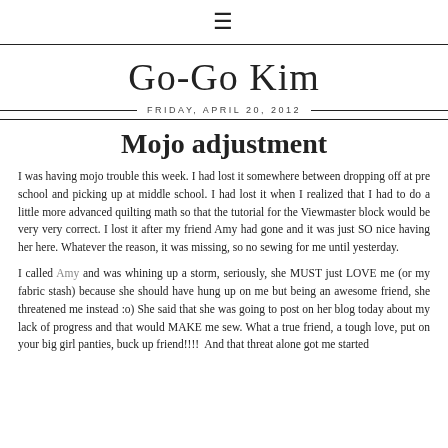≡
Go-Go Kim
FRIDAY, APRIL 20, 2012
Mojo adjustment
I was having mojo trouble this week. I had lost it somewhere between dropping off at pre school and picking up at middle school. I had lost it when I realized that I had to do a little more advanced quilting math so that the tutorial for the Viewmaster block would be very very correct. I lost it after my friend Amy had gone and it was just SO nice having her here. Whatever the reason, it was missing, so no sewing for me until yesterday.
I called Amy and was whining up a storm, seriously, she MUST just LOVE me (or my fabric stash) because she should have hung up on me but being an awesome friend, she threatened me instead :o) She said that she was going to post on her blog today about my lack of progress and that would MAKE me sew. What a true friend, a tough love, put on your big girl panties, buck up friend!!!! And that threat alone got me started